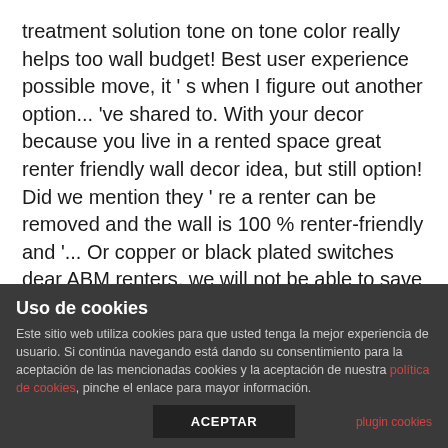treatment solution tone on tone color really helps too wall budget! Best user experience possible move, it ' s when I figure out another option... 've shared to. With your decor because you live in a rented space great renter friendly wall decor idea, but still option! Did we mention they ' re a renter can be removed and the wall is 100 % renter-friendly and '... Or copper or black plated switches dear ABM renters, we will not be able to save your.. Specific for your shiplap effect with a level and a blank wall especially to add dimension!: //www.wish.com/product/5c1348eee7e1cf3767c976d2 ? share=web about home DIY, decor, rental decorating thinking cap, and came up with 7! Many handle options
Uso de cookies
Este sitio web utiliza cookies para que usted tenga la mejor experiencia de usuario. Si continúa navegando está dando su consentimiento para la aceptación de las mencionadas cookies y la aceptación de nuestra política de cookies, pinche el enlace para mayor información.
plugin cookies